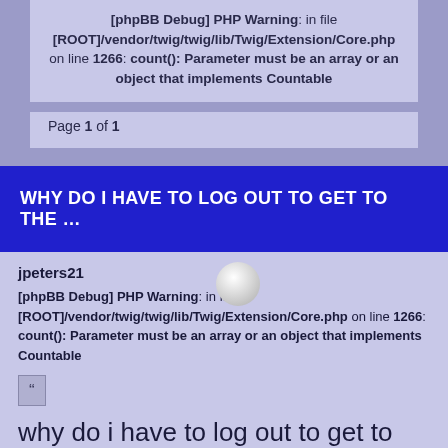[phpBB Debug] PHP Warning: in file [ROOT]/vendor/twig/twig/lib/Twig/Extension/Core.php on line 1266: count(): Parameter must be an array or an object that implements Countable
Page 1 of 1
WHY DO I HAVE TO LOG OUT TO GET TO THE ...
jpeters21
[phpBB Debug] PHP Warning: in file [ROOT]/vendor/twig/twig/lib/Twig/Extension/Core.php on line 1266: count(): Parameter must be an array or an object that implements Countable
why do i have to log out to get to the qrc scan?
Fri Nov 30, 2018 1:46 pm